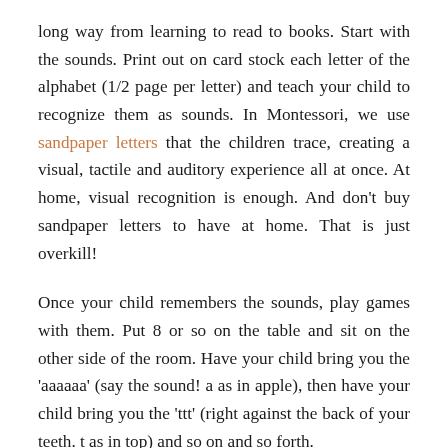long way from learning to read to books. Start with the sounds. Print out on card stock each letter of the alphabet (1/2 page per letter) and teach your child to recognize them as sounds. In Montessori, we use sandpaper letters that the children trace, creating a visual, tactile and auditory experience all at once. At home, visual recognition is enough. And don't buy sandpaper letters to have at home. That is just overkill!
Once your child remembers the sounds, play games with them. Put 8 or so on the table and sit on the other side of the room. Have your child bring you the 'aaaaaa' (say the sound! a as in apple), then have your child bring you the 'ttt' (right against the back of your teeth. t as in top) and so on and so forth.